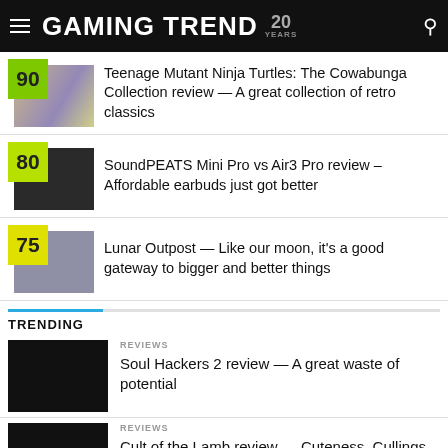GAMING TREND 20 YEARS
Teenage Mutant Ninja Turtles: The Cowabunga Collection review — A great collection of retro classics
SoundPEATS Mini Pro vs Air3 Pro review – Affordable earbuds just got better
Lunar Outpost — Like our moon, it's a good gateway to bigger and better things
TRENDING
REVIEWS
Soul Hackers 2 review — A great waste of potential
REVIEWS
Cult of the Lamb review — Cuteness, Cullings,